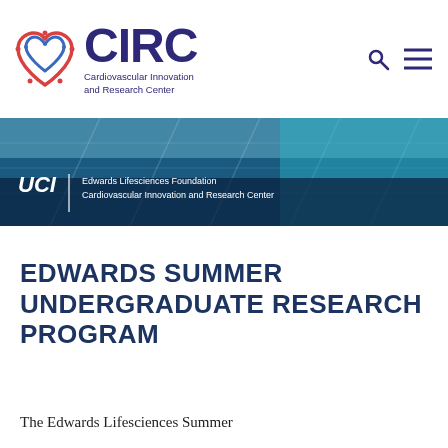[Figure (logo): CIRC logo with heart symbol in red, white, and blue with circuit-like dots, next to CIRC text in dark purple with subtitle 'Cardiovascular Innovation and Research Center'. Search and hamburger menu icons to the right.]
[Figure (photo): Hero banner photo of a modern glass building with blue-tinted reflective facade. UCI logo with 'Edwards Lifesciences Foundation Cardiovascular Innovation and Research Center' text overlay on dark blue background strip.]
EDWARDS SUMMER UNDERGRADUATE RESEARCH PROGRAM
The Edwards Lifesciences Summer